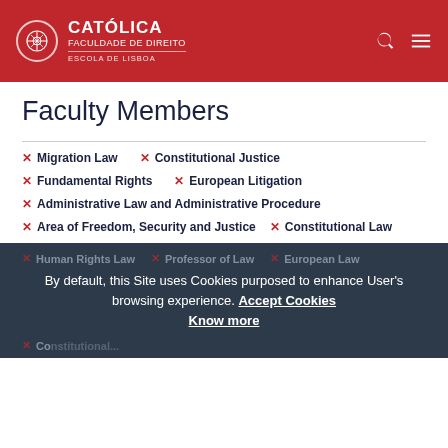[Figure (logo): Católica Faculdade de Direito, Escola de Lisboa logo on red header background]
Faculty Members
× Migration Law   × Constitutional Justice
× Fundamental Rights   × European Litigation
× Administrative Law and Administrative Procedure
× Area of Freedom, Security and Justice   × Constitutional Law
× Human Rights Law   × Professor of Law   × European Law
× Co... (partially obscured)
By default, this Site uses Cookies purposed to enhance User's browsing experience. Accept Cookies Know more